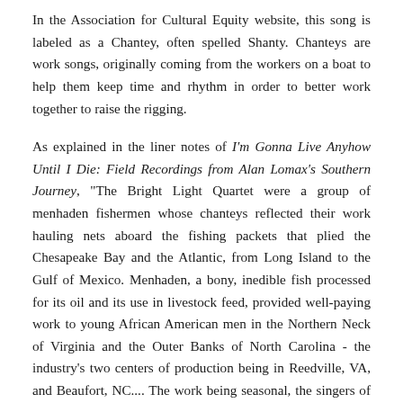In the Association for Cultural Equity website, this song is labeled as a Chantey, often spelled Shanty. Chanteys are work songs, originally coming from the workers on a boat to help them keep time and rhythm in order to better work together to raise the rigging.
As explained in the liner notes of I'm Gonna Live Anyhow Until I Die: Field Recordings from Alan Lomax's Southern Journey, "The Bright Light Quartet were a group of menhaden fishermen whose chanteys reflected their work hauling nets aboard the fishing packets that plied the Chesapeake Bay and the Atlantic, from Long Island to the Gulf of Mexico. Menhaden, a bony, inedible fish processed for its oil and its use in livestock feed, provided well-paying work to young African American men in the Northern Neck of Virginia and the Outer Banks of North Carolina - the industry's two centers of production being in Reedville, VA, and Beaufort, NC.... The work being seasonal, the singers of these songs were migratory, and many had experience as muleskinners, gandy-dancers, and roustabouts, and